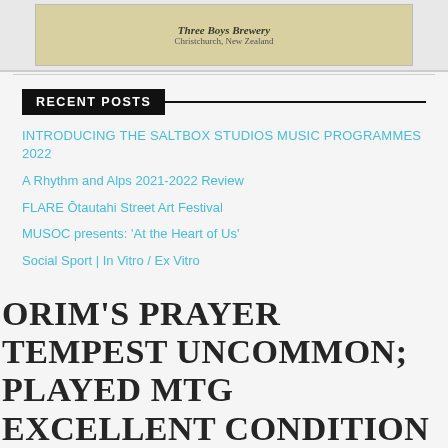[Figure (photo): Three Boys Brewery beer image with label showing 'Three Boys Brewery, Christchurch, New Zealand']
RECENT POSTS
INTRODUCING THE SALTBOX STUDIOS MUSIC PROGRAMMES 2022
A Rhythm and Alps 2021-2022 Review
FLARE Ōtautahi Street Art Festival
MUSOC presents: 'At the Heart of Us'
Social Sport | In Vitro / Ex Vitro
ORIM'S PRAYER TEMPEST UNCOMMON; PLAYED MTG EXCELLENT CONDITION X4
LEGO Rundplatte 1 x 1 50 x 4073 neu limettengrün